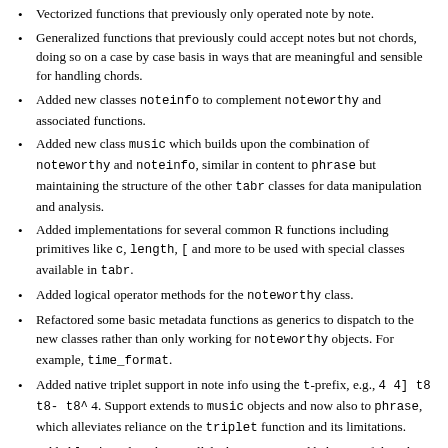Vectorized functions that previously only operated note by note.
Generalized functions that previously could accept notes but not chords, doing so on a case by case basis in ways that are meaningful and sensible for handling chords.
Added new classes noteinfo to complement noteworthy and associated functions.
Added new class music which builds upon the combination of noteworthy and noteinfo, similar in content to phrase but maintaining the structure of the other tabr classes for data manipulation and analysis.
Added implementations for several common R functions including primitives like c, length, [ and more to be used with special classes available in tabr.
Added logical operator methods for the noteworthy class.
Refactored some basic metadata functions as generics to dispatch to the new classes rather than only working for noteworthy objects. For example, time_format.
Added native triplet support in note info using the t-prefix, e.g., 4 4] t8 t8- t8^ 4. Support extends to music objects and now also to phrase, which alleviates reliance on the triplet function and its limitations.
Added lyrics class that parallels the structure and behavior of the other classes; added associated functions and generic method implementations.